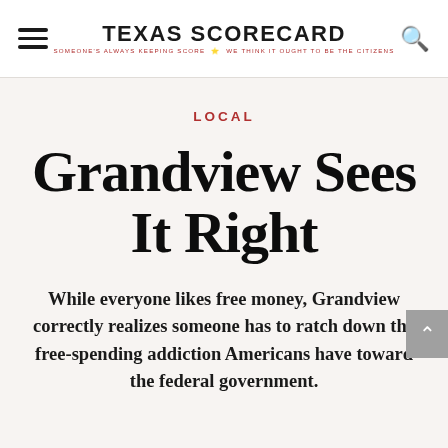TEXAS SCORECARD — SOMEONE'S ALWAYS KEEPING SCORE — WE THINK IT OUGHT TO BE THE CITIZENS
LOCAL
Grandview Sees It Right
While everyone likes free money, Grandview correctly realizes someone has to ratch down the free-spending addiction Americans have toward the federal government.